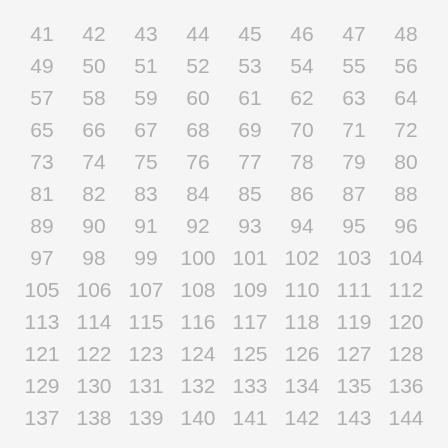| 41 | 42 | 43 | 44 | 45 | 46 | 47 | 48 |
| 49 | 50 | 51 | 52 | 53 | 54 | 55 | 56 |
| 57 | 58 | 59 | 60 | 61 | 62 | 63 | 64 |
| 65 | 66 | 67 | 68 | 69 | 70 | 71 | 72 |
| 73 | 74 | 75 | 76 | 77 | 78 | 79 | 80 |
| 81 | 82 | 83 | 84 | 85 | 86 | 87 | 88 |
| 89 | 90 | 91 | 92 | 93 | 94 | 95 | 96 |
| 97 | 98 | 99 | 100 | 101 | 102 | 103 | 104 |
| 105 | 106 | 107 | 108 | 109 | 110 | 111 | 112 |
| 113 | 114 | 115 | 116 | 117 | 118 | 119 | 120 |
| 121 | 122 | 123 | 124 | 125 | 126 | 127 | 128 |
| 129 | 130 | 131 | 132 | 133 | 134 | 135 | 136 |
| 137 | 138 | 139 | 140 | 141 | 142 | 143 | 144 |